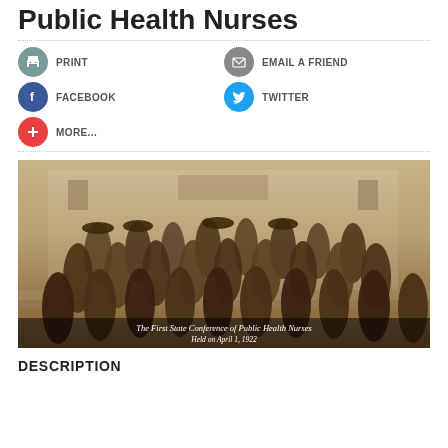Public Health Nurses
PRINT
EMAIL A FRIEND
FACEBOOK
TWITTER
MORE...
[Figure (photo): Sepia-toned group photograph of nurses standing on steps of a building. Caption reads: 'The First State Conference of Public Health Nurses' with a date below.]
The First State Conference of Public Health Nurses
Held on April 1, 1922
DESCRIPTION